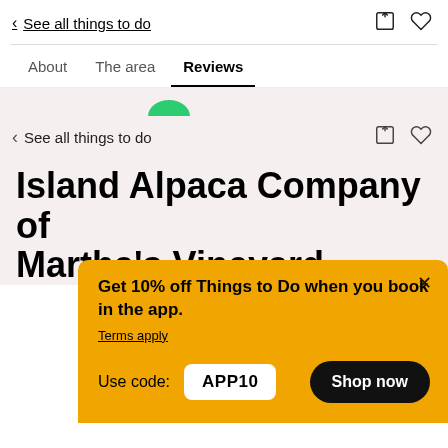< See all things to do
About  The area  Reviews
< See all things to do
Island Alpaca Company of Martha's Vineyard
Get 10% off Things to Do when you book in the app.
Terms apply
Use code: APP10
Shop now